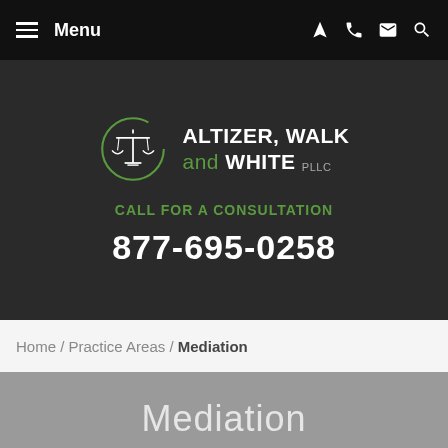Menu
[Figure (logo): Altizer, Walk and White PLLC law firm logo with scales of justice in a green circle]
CALL FOR A CONSULTATION
877-695-0258
Home / Practice Areas / Mediation
Mediation